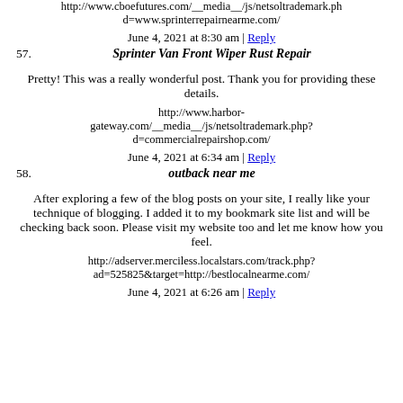http://www.cboefutures.com/__media__/js/netsoltrademark.php?d=www.sprinterrepairnearme.com/
June 4, 2021 at 8:30 am | Reply
57. Sprinter Van Front Wiper Rust Repair
Pretty! This was a really wonderful post. Thank you for providing these details.
http://www.harbor-gateway.com/__media__/js/netsoltrademark.php?d=commercialrepairshop.com/
June 4, 2021 at 6:34 am | Reply
58. outback near me
After exploring a few of the blog posts on your site, I really like your technique of blogging. I added it to my bookmark site list and will be checking back soon. Please visit my website too and let me know how you feel.
http://adserver.merciless.localstars.com/track.php?ad=525825&target=http://bestlocalnearme.com/
June 4, 2021 at 6:26 am | Reply